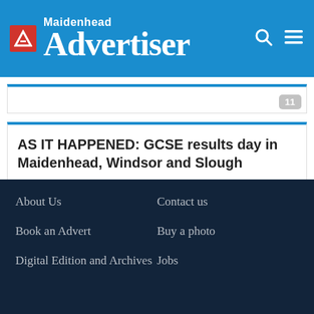Maidenhead Advertiser
AS IT HAPPENED: GCSE results day in Maidenhead, Windsor and Slough
About Us | Contact us | Book an Advert | Buy a photo | Digital Edition and Archives | Jobs